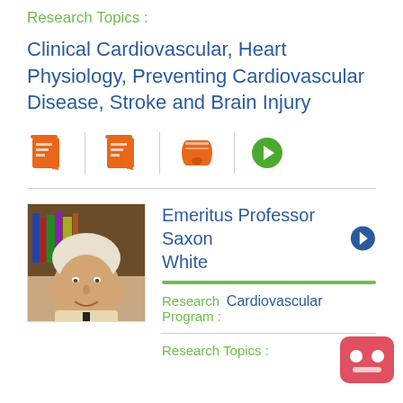Research Topics :
Clinical Cardiovascular, Heart Physiology, Preventing Cardiovascular Disease, Stroke and Brain Injury
[Figure (infographic): Three orange icons: two notepad-with-pen icons and one diploma/scroll icon, plus a green circle arrow icon, separated by vertical dividers]
Emeritus Professor Saxon White
Research Program : Cardiovascular
Research Topics :
[Figure (photo): Headshot of an elderly man with white hair, smiling, wearing a light jacket]
[Figure (other): Red/pink chatbot icon in the bottom right corner]